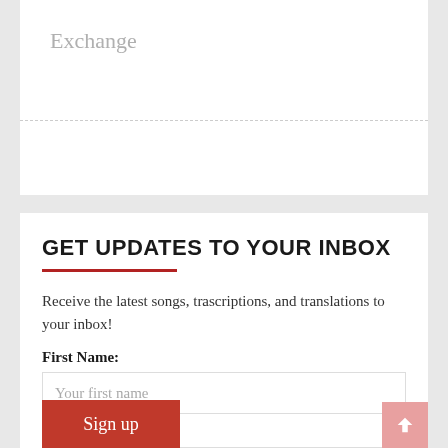Exchange
GET UPDATES TO YOUR INBOX
Receive the latest songs, trascriptions, and translations to your inbox!
First Name:
Your first name
Email address:
Your email address
Sign up